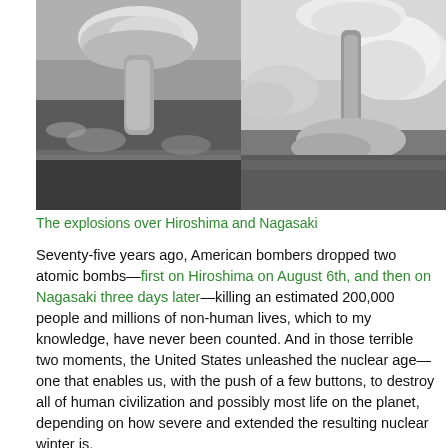[Figure (photo): Two black and white aerial photographs side by side showing atomic bomb mushroom clouds over Hiroshima (left) and Nagasaki (right)]
The explosions over Hiroshima and Nagasaki
Seventy-five years ago, American bombers dropped two atomic bombs—first on Hiroshima on August 6th, and then on Nagasaki three days later—killing an estimated 200,000 people and millions of non-human lives, which to my knowledge, have never been counted. And in those terrible two moments, the United States unleashed the nuclear age—one that enables us, with the push of a few buttons, to destroy all of human civilization and possibly most life on the planet, depending on how severe and extended the resulting nuclear winter is.